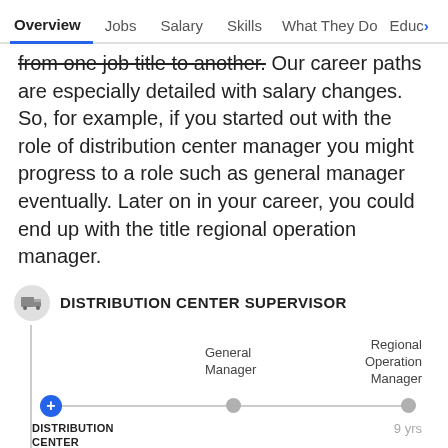Overview  Jobs  Salary  Skills  What They Do  Educa>
from one job title to another. Our career paths are especially detailed with salary changes. So, for example, if you started out with the role of distribution center manager you might progress to a role such as general manager eventually. Later on in your career, you could end up with the title regional operation manager.
[Figure (flowchart): Career path diagram for Distribution Center Supervisor showing progression from Distribution Center Manager to General Manager and Regional Operation Manager, with Operations Director and Supply Chain Director below. A horizontal line with dots connects the roles. Time marker shows 9 yrs.]